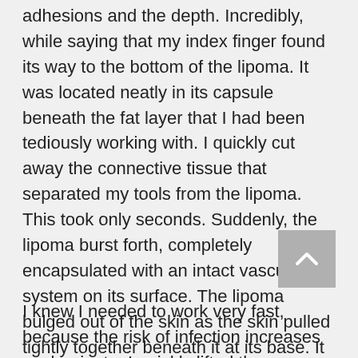adhesions and the depth. Incredibly, while saying that my index finger found its way to the bottom of the lipoma. It was located neatly in its capsule beneath the fat layer that I had been tediously working with. I quickly cut away the connective tissue that separated my tools from the lipoma. This took only seconds. Suddenly, the lipoma burst forth, completely encapsulated with an intact vascular system on its surface. The lipoma bulged out of the skin as the skin pulled tightly together beneath it at its base. It appeared like a pedunculated mushroom because of all of the adhesions at the base. Mrs. A's husband, myself and my assistant were amazed at its size and appearance.
I knew I needed to work very fast, because the risk of infection increases each minute. I quickly lifted the